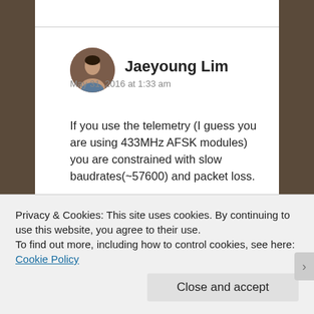[Figure (photo): Circular avatar photo of Jaeyoung Lim]
Jaeyoung Lim
May 31, 2016 at 1:33 am
If you use the telemetry (I guess you are using 433MHz AFSK modules) you are constrained with slow baudrates(~57600) and packet loss.
You should have a companion computer onboard the quadrotor which is connected to the pixhawk by wire. This way you can use baudrates up to 921600. The companion computer
Privacy & Cookies: This site uses cookies. By continuing to use this website, you agree to their use.
To find out more, including how to control cookies, see here: Cookie Policy